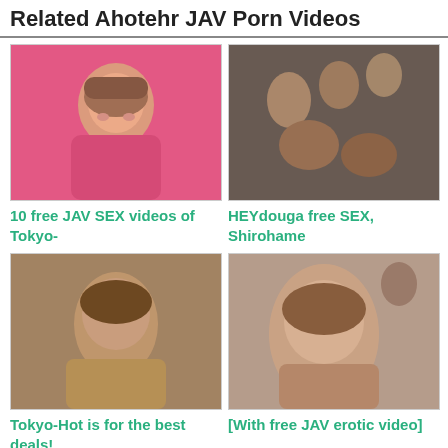Related Ahotehr JAV Porn Videos
[Figure (photo): Japanese woman with brown hair, pink background]
10 free JAV SEX videos of Tokyo-
[Figure (photo): Group scene, multiple people]
HEYdouga free SEX, Shirohame
[Figure (photo): Japanese woman close-up]
Tokyo-Hot is for the best deals!
[Figure (photo): Japanese woman close-up face]
[With free JAV erotic video]